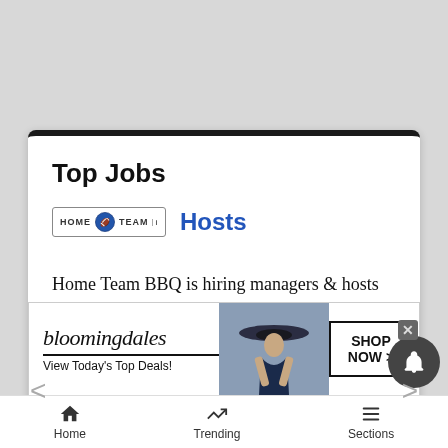Top Jobs
Hosts
Home Team BBQ is hiring managers & hosts immediately! Join our crew at the base of Buttermilk Mountain! If you...
[Figure (screenshot): Bloomingdales advertisement banner: logo, 'View Today's Top Deals!', woman in hat photo, SHOP NOW > button]
Home   Trending   Sections